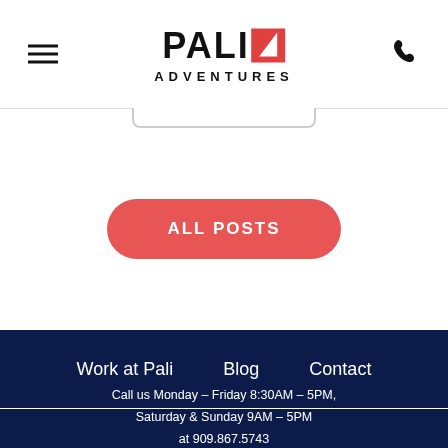PALI ADVENTURES
[Figure (other): ALL POSTS button - red pill-shaped button]
Work at Pali   Blog   Contact
Call us Monday – Friday 8:30AM – 5PM, Saturday & Sunday 9AM – 5PM at 909.867.5743 30778 Hwy 18, Running Springs, California